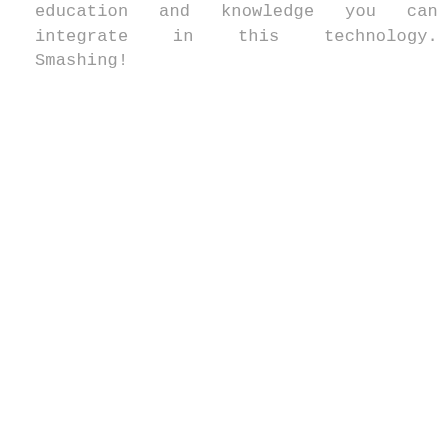education and knowledge you can integrate in this technology. Smashing!